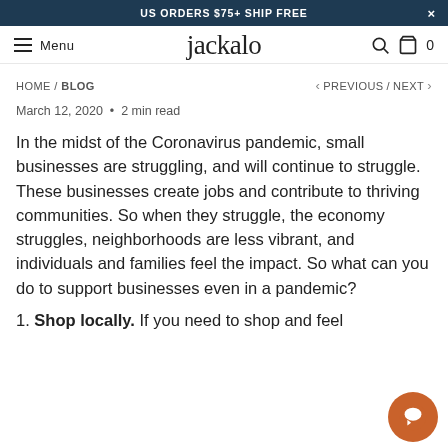US ORDERS $75+ SHIP FREE
[Figure (logo): jackalo brand logo with hamburger menu, search icon, and cart icon]
HOME / BLOG    < PREVIOUS / NEXT >
March 12, 2020  •  2 min read
In the midst of the Coronavirus pandemic, small businesses are struggling, and will continue to struggle. These businesses create jobs and contribute to thriving communities. So when they struggle, the economy struggles, neighborhoods are less vibrant, and individuals and families feel the impact. So what can you do to support businesses even in a pandemic?
1. Shop locally. If you need to shop and feel